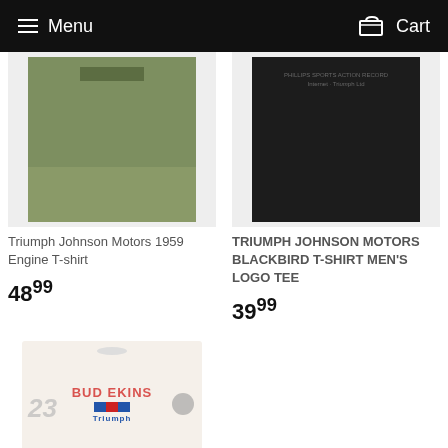Menu  Cart
[Figure (photo): Olive green Triumph Johnson Motors 1959 Engine T-shirt folded flat]
Triumph Johnson Motors 1959 Engine T-shirt
48 99
[Figure (photo): Black Triumph Johnson Motors Blackbird T-shirt Men's Logo Tee, folded flat with text on chest]
TRIUMPH JOHNSON MOTORS BLACKBIRD T-SHIRT MEN'S LOGO TEE
39 99
[Figure (photo): White Bud Ekins Triumph T-shirt with red BUD EKINS text and Triumph logo, marked SOLD OUT]